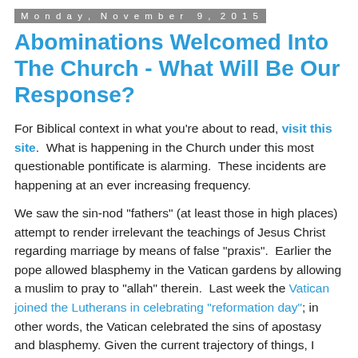Monday, November 9, 2015
Abominations Welcomed Into The Church - What Will Be Our Response?
For Biblical context in what you're about to read, visit this site.  What is happening in the Church under this most questionable pontificate is alarming.  These incidents are happening at an ever increasing frequency.
We saw the sin-nod "fathers" (at least those in high places) attempt to render irrelevant the teachings of Jesus Christ regarding marriage by means of false "praxis".  Earlier the pope allowed blasphemy in the Vatican gardens by allowing a muslim to pray to "allah" therein.  Last week the Vatican joined the Lutherans in celebrating "reformation day"; in other words, the Vatican celebrated the sins of apostasy and blasphemy. Given the current trajectory of things, I wonder when the Vatican will get around to celebrating the day Adam and Eve ate the apple.
But since the Vatican has celebrated apostasy, they now...